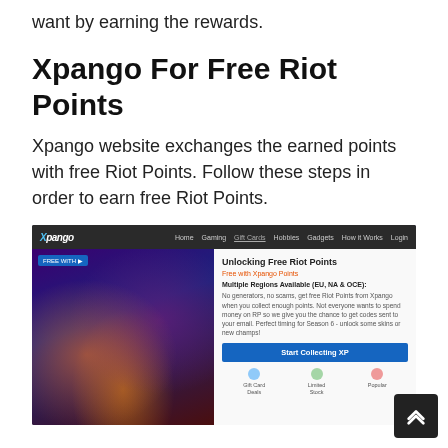want by earning the rewards.
Xpango For Free Riot Points
Xpango website exchanges the earned points with free Riot Points. Follow these steps in order to earn free Riot Points.
[Figure (screenshot): Screenshot of the Xpango website showing the 'Unlocking Free Riot Points' page with a League of Legends game image, navigation bar with Home, Gaming, Hobbies, Gadgets, How it Works, Login links, and a 'Start Collecting XP' blue button.]
Step 1: Visit Xpango and register for an account. If you already have an account, log